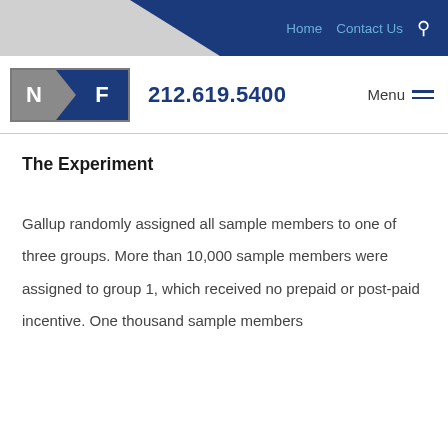Home  Contact Us  🔍
NF  212.619.5400  Menu
The Experiment
Gallup randomly assigned all sample members to one of three groups. More than 10,000 sample members were assigned to group 1, which received no prepaid or post-paid incentive. One thousand sample members